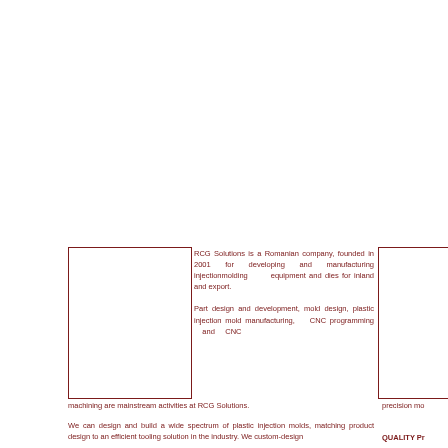[Figure (other): Left image placeholder box, bordered rectangle]
RCG Solutions is a Romanian company, founded in 2001 for developing and manufacturing injectionmolding equipment and dies for inland and export.

Part design and development, mold design, plastic injection mold manufacturing, CNC programming and CNC machining are mainstream activities at RCG Solutions.
[Figure (other): Right image placeholder box, bordered rectangle, partially visible]
machining are mainstream activities at RCG Solutions.
precision mo
We can design and build a wide spectrum of plastic injection molds, matching product design to an efficient tooling solution in the industry. We custom-design
QUALITY Pr